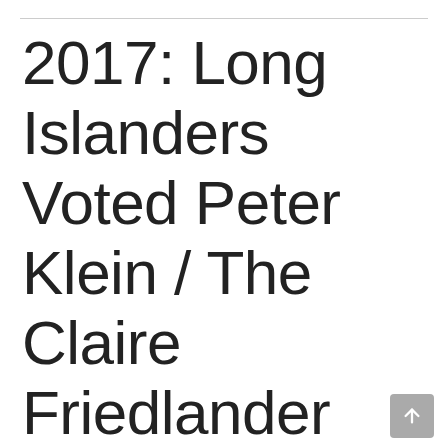2017: Long Islanders Voted Peter Klein / The Claire Friedlander Family Foundation Best Philanthropist on Long Island